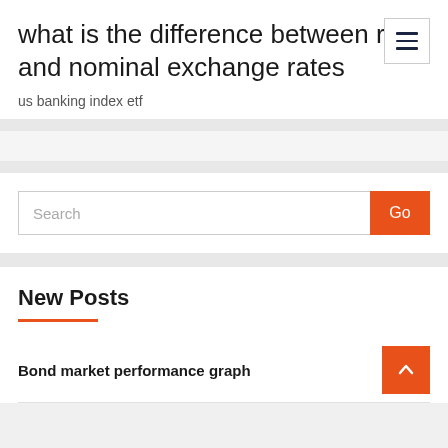what is the difference between real and nominal exchange rates
us banking index etf
New Posts
Bond market performance graph